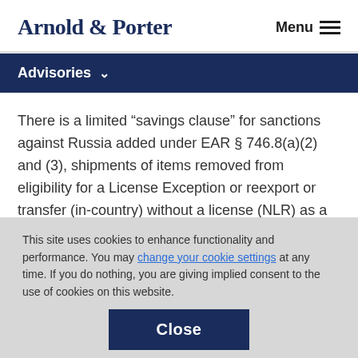Arnold & Porter  Menu
Advisories
There is a limited “savings clause” for sanctions against Russia added under EAR § 746.8(a)(2) and (3), shipments of items removed from eligibility for a License Exception or reexport or transfer (in-country) without a license (NLR) as a
This site uses cookies to enhance functionality and performance. You may change your cookie settings at any time. If you do nothing, you are giving implied consent to the use of cookies on this website.
Close